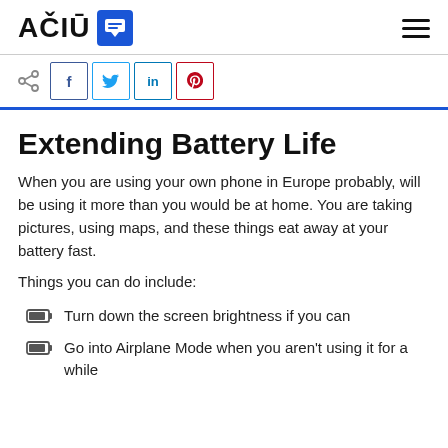AČIŪ [logo]
Extending Battery Life
When you are using your own phone in Europe probably, will be using it more than you would be at home. You are taking pictures, using maps, and these things eat away at your battery fast.
Things you can do include:
Turn down the screen brightness if you can
Go into Airplane Mode when you aren't using it for a while